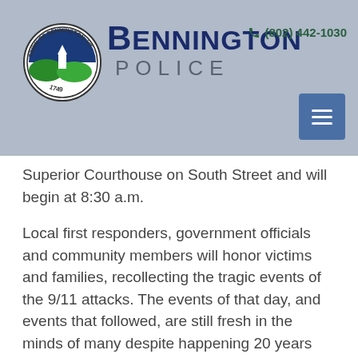BENNINGTON POLICE | (802) 442-1030
Superior Courthouse on South Street and will begin at 8:30 a.m.
Local first responders, government officials and community members will honor victims and families, recollecting the tragic events of the 9/11 attacks. The events of that day, and events that followed, are still fresh in the minds of many despite happening 20 years ago. These events changed the world as the United States and allies began a global war on terrorism.
The Bennington Police Department Honor Guard will participate in a flag detail. Members of the Mount